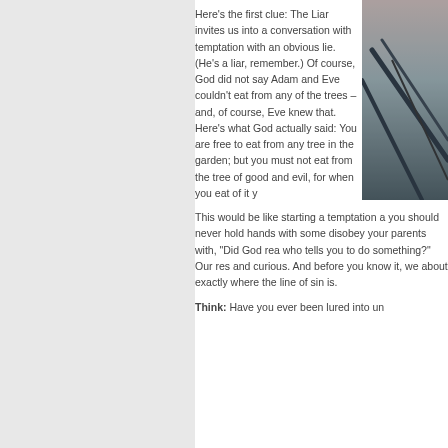Here's the first clue: The Liar invites us into a conversation with temptation with an obvious lie. (He's a liar, remember.) Of course, God did not say Adam and Eve couldn't eat from any of the trees – and, of course, Eve knew that. Here's what God actually said: You are free to eat from any tree in the garden; but you must not eat from the tree of the knowledge of good and evil, for when you eat of it you will surely die.
[Figure (photo): A dark moody photo showing what appears to be stairs or a railing in dim light with muted pink/grey tones]
This would be like starting a temptation about whether you should never hold hands with someone you're trying to disobey your parents with, "Did God really say you can't hold hands with who tells you to do something?" Our response would be confused and curious. And before you know it, we've started to wonder about exactly where the line of sin is.
Think: Have you ever been lured into un...